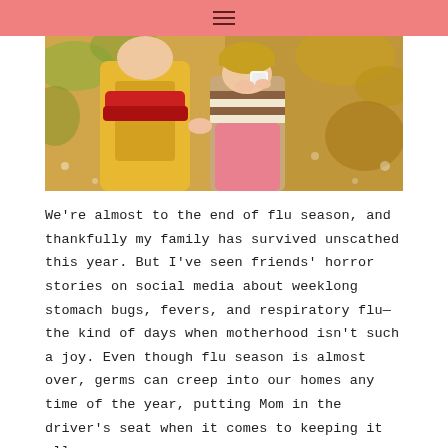≡
[Figure (photo): Two children outdoors in autumn, wearing colorful winter coats and hats. One child appears to be wiping or blowing their nose with a tissue.]
We're almost to the end of flu season, and thankfully my family has survived unscathed this year. But I've seen friends' horror stories on social media about weeklong stomach bugs, fevers, and respiratory flu—the kind of days when motherhood isn't such a joy. Even though flu season is almost over, germs can creep into our homes any time of the year, putting Mom in the driver's seat when it comes to keeping it all